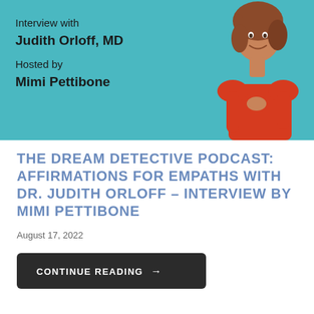[Figure (photo): Podcast promotional image with teal background showing 'Interview with Judith Orloff, MD / Hosted by Mimi Pettibone' text on the left and a smiling woman in a red top on the right.]
THE DREAM DETECTIVE PODCAST: AFFIRMATIONS FOR EMPATHS WITH DR. JUDITH ORLOFF – INTERVIEW BY MIMI PETTIBONE
August 17, 2022
CONTINUE READING →